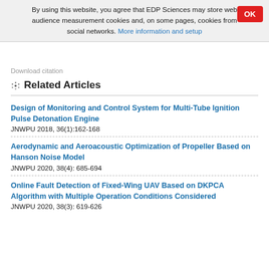By using this website, you agree that EDP Sciences may store web audience measurement cookies and, on some pages, cookies from social networks. More information and setup
Download citation
Related Articles
Design of Monitoring and Control System for Multi-Tube Ignition Pulse Detonation Engine
JNWPU 2018, 36(1):162-168
Aerodynamic and Aeroacoustic Optimization of Propeller Based on Hanson Noise Model
JNWPU 2020, 38(4): 685-694
Online Fault Detection of Fixed-Wing UAV Based on DKPCA Algorithm with Multiple Operation Conditions Considered
JNWPU 2020, 38(3): 619-626